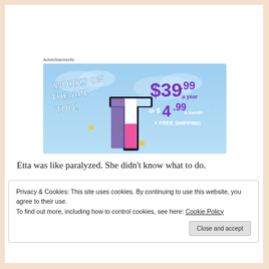Advertisements
[Figure (illustration): Advertisement banner for a subscription service. Sky blue background with a stylized bold 't' logo in white, purple, and pink. Text reads: WORKS ON THE APP TOO! $39.99 a year or $4.99 a month + FREE SHIPPING]
Etta was like paralyzed. She didn't know what to do.
Privacy & Cookies: This site uses cookies. By continuing to use this website, you agree to their use.
To find out more, including how to control cookies, see here: Cookie Policy
Close and accept